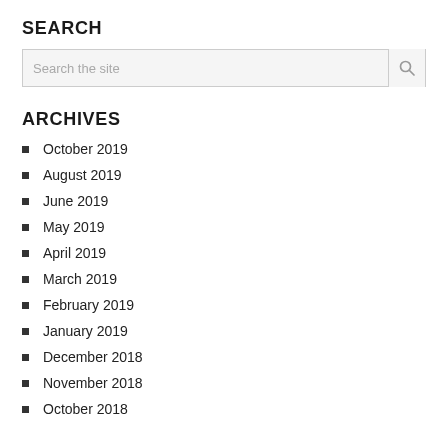SEARCH
[Figure (other): Search input box with magnifying glass icon]
ARCHIVES
October 2019
August 2019
June 2019
May 2019
April 2019
March 2019
February 2019
January 2019
December 2018
November 2018
October 2018